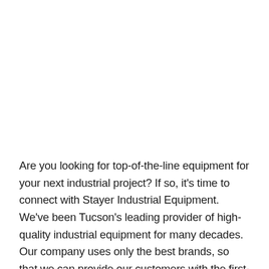Are you looking for top-of-the-line equipment for your next industrial project? If so, it's time to connect with Stayer Industrial Equipment. We've been Tucson's leading provider of high-quality industrial equipment for many decades. Our company uses only the best brands, so that we can provide our customers with the first-rate products they deserve. We have proudly served the community for more than a quarter of a century, and we are always working to improve the products we sell.